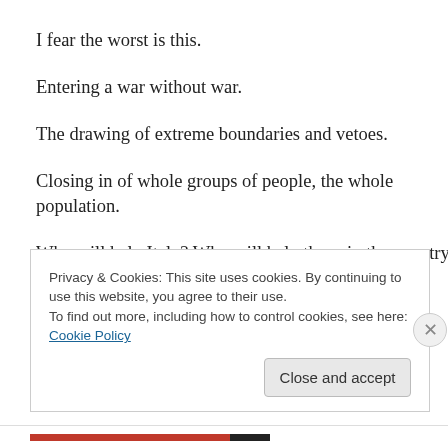I fear the worst is this.
Entering a war without war.
The drawing of extreme boundaries and vetoes.
Closing in of whole groups of people, the whole population.
Who will help Italy? Who will help those in the country I
Privacy & Cookies: This site uses cookies. By continuing to use this website, you agree to their use.
To find out more, including how to control cookies, see here: Cookie Policy
Close and accept